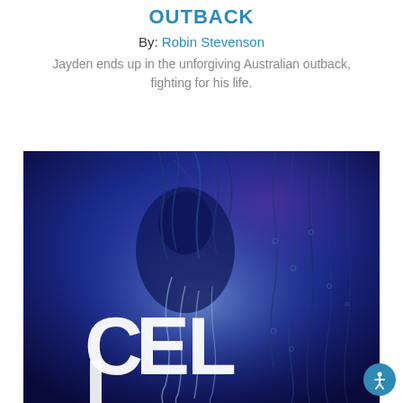OUTBACK
By: Robin Stevenson
Jayden ends up in the unforgiving Australian outback, fighting for his life.
[Figure (illustration): Book cover with dark blue background showing abstract neural/organic tendrils and a shadowy figure, with large white letters 'CEL' visible at the bottom left. The image has a sci-fi/horror aesthetic with glowing blue and purple tones.]